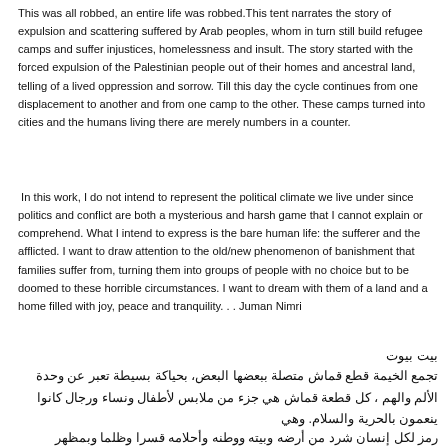This was all robbed, an entire life was robbed.This tent narrates the story of expulsion and scattering suffered by Arab peoples, whom in turn still build refugee camps and suffer injustices, homelessness and insult. The story started with the forced expulsion of the Palestinian people out of their homes and ancestral land, telling of a lived oppression and sorrow. Till this day the cycle continues from one displacement to another and from one camp to the other. These camps turned into cities and the humans living there are merely numbers in a counter.
In this work, I do not intend to represent the political climate we live under since politics and conflict are both a mysterious and harsh game that I cannot explain or comprehend. What I intend to express is the bare human life: the sufferer and the afflicted. I want to draw attention to the old/new phenomenon of banishment that families suffer from, turning them into groups of people with no choice but to be doomed to these horrible circumstances. I want to dream with them of a land and a home filled with joy, peace and tranquility. . . Juman Nimri
بيت بيوت
تجمع الخيمة قطع قماش متصلة ببعضها البعض، بحياكة بسيطة تعبر عن وحدة الألم والهم ، كل قطعة قماش هي جزء من ملابس لأطفال ونساء ورجال كانوا ينعمون بالحرية والسلام. وهي
رمز لكل إنسان شرد من أرضه وبيته ووطنه وأحلامه قسرا وظلما وبمظهر